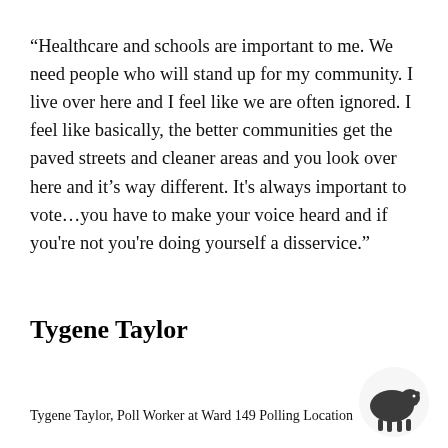“Healthcare and schools are important to me. We need people who will stand up for my community. I live over here and I feel like we are often ignored. I feel like basically, the better communities get the paved streets and cleaner areas and you look over here and it’s way different. It's always important to vote…you have to make your voice heard and if you're not you're doing yourself a disservice.”
Tygene Taylor
Tygene Taylor, Poll Worker at Ward 149 Polling Location